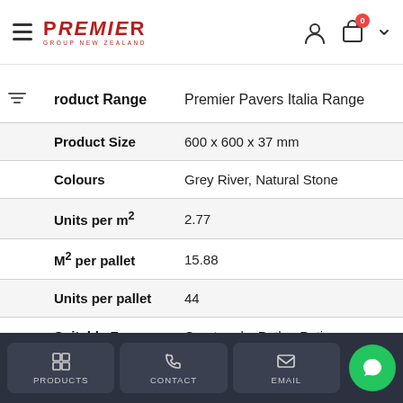Premier Group New Zealand
| Property | Value |
| --- | --- |
| Product Range | Premier Pavers Italia Range |
| Product Size | 600 x 600 x 37 mm |
| Colours | Grey River, Natural Stone |
| Units per m² | 2.77 |
| M² per pallet | 15.88 |
| Units per pallet | 44 |
| Suitable For | Courtyards, Paths, Patio |
PRODUCTS | CONTACT | EMAIL